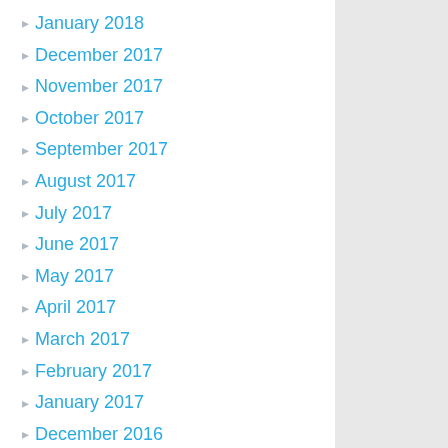January 2018
December 2017
November 2017
October 2017
September 2017
August 2017
July 2017
June 2017
May 2017
April 2017
March 2017
February 2017
January 2017
December 2016
November 2016
October 2016
September 2016